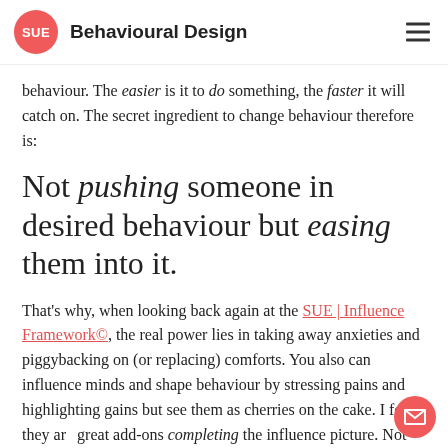SUE | Behavioural Design
behaviour. The easier is it to do something, the faster it will catch on. The secret ingredient to change behaviour therefore is:
Not pushing someone in desired behaviour but easing them into it.
That's why, when looking back again at the SUE | Influence Framework©, the real power lies in taking away anxieties and piggybacking on (or replacing) comforts. You also can influence minds and shape behaviour by stressing pains and highlighting gains but see them as cherries on the cake. I feel they are great add-ons completing the influence picture. Not